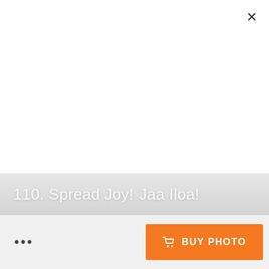[Figure (photo): Large white/blank photo area with a close (X) button in the top right corner. The image content is white/blank.]
110. Spread Joy! Jaa Iloa!
...
BUY PHOTO